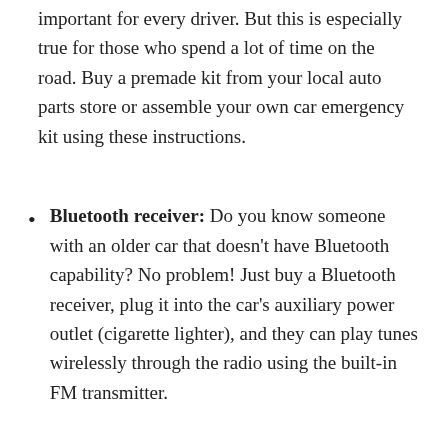important for every driver. But this is especially true for those who spend a lot of time on the road. Buy a premade kit from your local auto parts store or assemble your own car emergency kit using these instructions.
Bluetooth receiver: Do you know someone with an older car that doesn't have Bluetooth capability? No problem! Just buy a Bluetooth receiver, plug it into the car's auxiliary power outlet (cigarette lighter), and they can play tunes wirelessly through the radio using the built-in FM transmitter.
Custom floor mats: During rain and snow, those carpet floor mats that come standard with your car can turn into a wet, filthy mess.